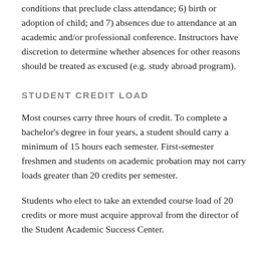conditions that preclude class attendance; 6) birth or adoption of child; and 7) absences due to attendance at an academic and/or professional conference. Instructors have discretion to determine whether absences for other reasons should be treated as excused (e.g. study abroad program).
STUDENT CREDIT LOAD
Most courses carry three hours of credit. To complete a bachelor's degree in four years, a student should carry a minimum of 15 hours each semester. First-semester freshmen and students on academic probation may not carry loads greater than 20 credits per semester.
Students who elect to take an extended course load of 20 credits or more must acquire approval from the director of the Student Academic Success Center.